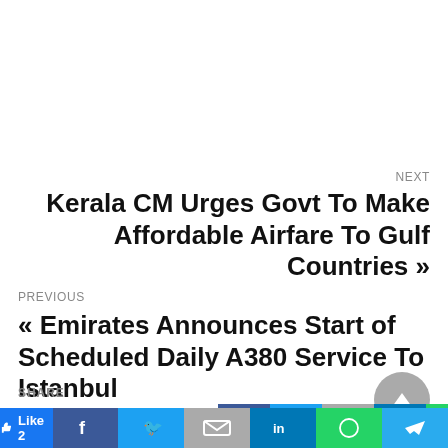NEXT
Kerala CM Urges Govt To Make Affordable Airfare To Gulf Countries »
PREVIOUS
« Emirates Announces Start of Scheduled Daily A380 Service To Istanbul
SHARE